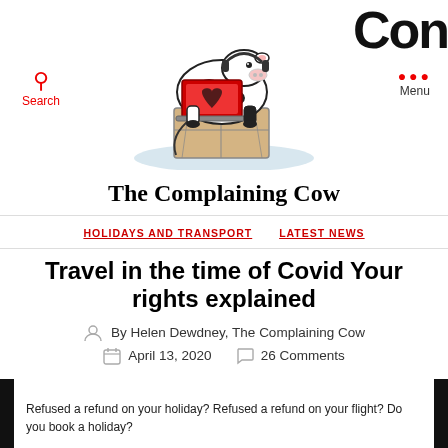[Figure (illustration): Cartoon illustration of a black and white cow sitting on a wooden crate, using a red laptop computer, with headphones around its neck. Light blue oval shadow beneath. Top right corner shows partial bold letters 'Cow' in black.]
The Complaining Cow
HOLIDAYS AND TRANSPORT   LATEST NEWS
Travel in the time of Covid Your rights explained
By Helen Dewdney, The Complaining Cow
April 13, 2020   26 Comments
Refused a refund on your holiday? Refused a refund on your flight? Do you book a holiday?

Coronavirus has brought chaos to the world. In its path consumer travel plans have been disrupted indefinitely, so what are your rights and what can you do when companies won't play ball?